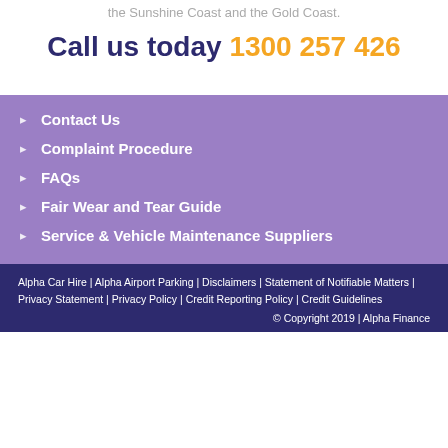the Sunshine Coast and the Gold Coast.
Call us today 1300 257 426
Contact Us
Complaint Procedure
FAQs
Fair Wear and Tear Guide
Service & Vehicle Maintenance Suppliers
Alpha Car Hire | Alpha Airport Parking | Disclaimers | Statement of Notifiable Matters | Privacy Statement | Privacy Policy | Credit Reporting Policy | Credit Guidelines
© Copyright 2019 | Alpha Finance